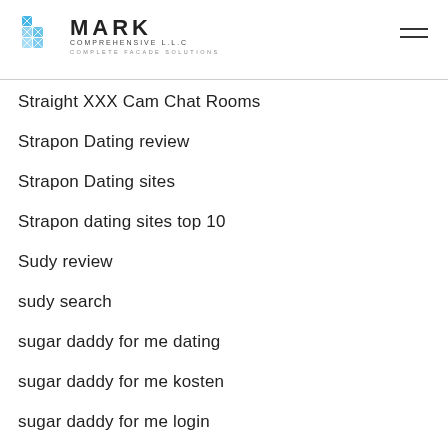MARK COMPREHENSIVE L.L.C COMPLETE FACADE SOLUTIONS
Straight XXX Cam Chat Rooms
Strapon Dating review
Strapon Dating sites
Strapon dating sites top 10
Sudy review
sudy search
sugar daddy for me dating
sugar daddy for me kosten
sugar daddy for me login